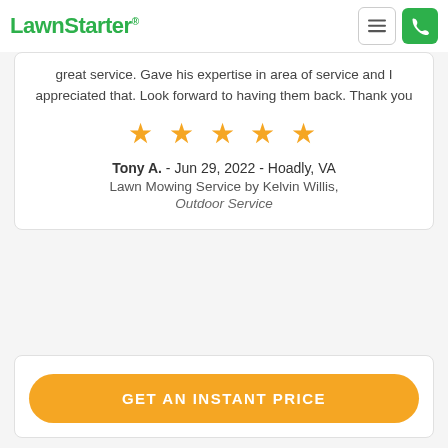LawnStarter
great service. Gave his expertise in area of service and I appreciated that. Look forward to having them back. Thank you
[Figure (other): 5 gold/yellow star rating icons]
Tony A. - Jun 29, 2022 - Hoadly, VA
Lawn Mowing Service by Kelvin Willis,
Outdoor Service
GET AN INSTANT PRICE